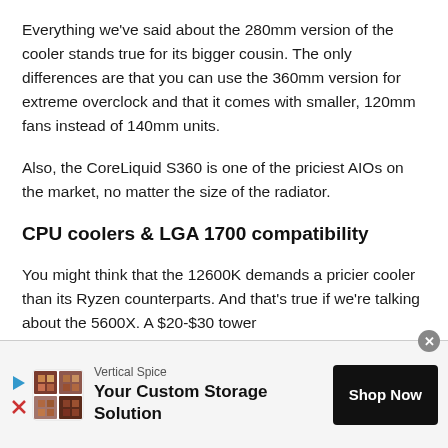Everything we've said about the 280mm version of the cooler stands true for its bigger cousin. The only differences are that you can use the 360mm version for extreme overclock and that it comes with smaller, 120mm fans instead of 140mm units.
Also, the CoreLiquid S360 is one of the priciest AIOs on the market, no matter the size of the radiator.
CPU coolers & LGA 1700 compatibility
You might think that the 12600K demands a pricier cooler than its Ryzen counterparts. And that's true if we're talking about the 5600X. A $20-$30 tower
[Figure (other): Advertisement banner for Vertical Spice featuring logo, headline 'Your Custom Storage Solution', and 'Shop Now' button]